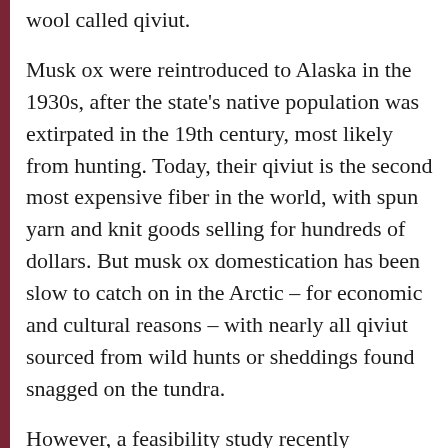wool called qiviut.
Musk ox were reintroduced to Alaska in the 1930s, after the state's native population was extirpated in the 19th century, most likely from hunting. Today, their qiviut is the second most expensive fiber in the world, with spun yarn and knit goods selling for hundreds of dollars. But musk ox domestication has been slow to catch on in the Arctic – for economic and cultural reasons – with nearly all qiviut sourced from wild hunts or sheddings found snagged on the tundra.
However, a feasibility study recently published in ARCTIC Journal found that musk ox domestication could be economically viable. Moreover, as wild populations decline in the Far North, killed off by bacteria typically found in